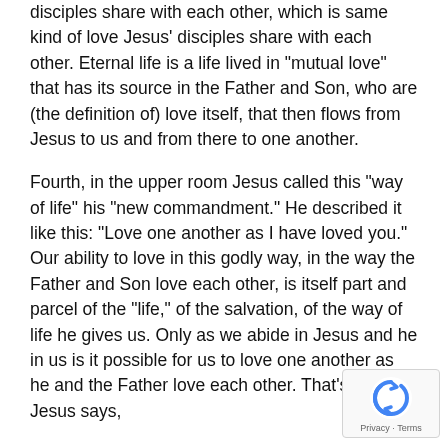disciples share with each other, which is same kind of love Jesus' disciples share with each other. Eternal life is a life lived in "mutual love" that has its source in the Father and Son, who are (the definition of) love itself, that then flows from Jesus to us and from there to one another.
Fourth, in the upper room Jesus called this "way of life" his "new commandment." He described it like this: "Love one another as I have loved you." Our ability to love in this godly way, in the way the Father and Son love each other, is itself part and parcel of the "life," of the salvation, of the way of life he gives us. Only as we abide in Jesus and he in us is it possible for us to love one another as he and the Father love each other. That's why Jesus says,
[Figure (logo): reCAPTCHA widget with blue circular arrows logo and Privacy - Terms text]